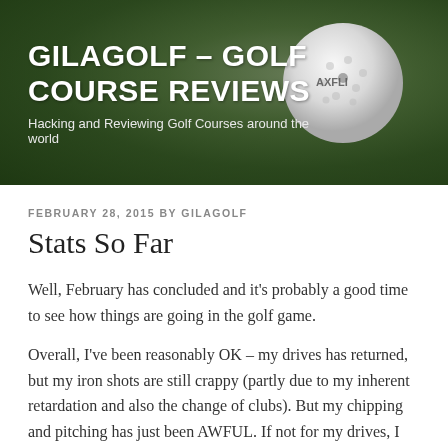GILAGOLF – GOLF COURSE REVIEWS
Hacking and Reviewing Golf Courses around the world
FEBRUARY 28, 2015 BY GILAGOLF
Stats So Far
Well, February has concluded and it's probably a good time to see how things are going in the golf game.
Overall, I've been reasonably OK – my drives has returned, but my iron shots are still crappy (partly due to my inherent retardation and also the change of clubs). But my chipping and pitching has just been AWFUL. If not for my drives, I would probably average around 98 or 99 per game.